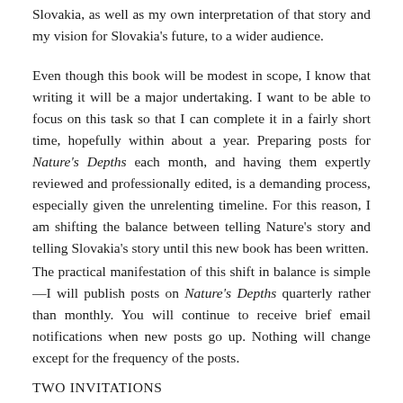Slovakia, as well as my own interpretation of that story and my vision for Slovakia's future, to a wider audience.
Even though this book will be modest in scope, I know that writing it will be a major undertaking. I want to be able to focus on this task so that I can complete it in a fairly short time, hopefully within about a year. Preparing posts for Nature's Depths each month, and having them expertly reviewed and professionally edited, is a demanding process, especially given the unrelenting timeline. For this reason, I am shifting the balance between telling Nature's story and telling Slovakia's story until this new book has been written.
The practical manifestation of this shift in balance is simple—I will publish posts on Nature's Depths quarterly rather than monthly. You will continue to receive brief email notifications when new posts go up. Nothing will change except for the frequency of the posts.
TWO INVITATIONS